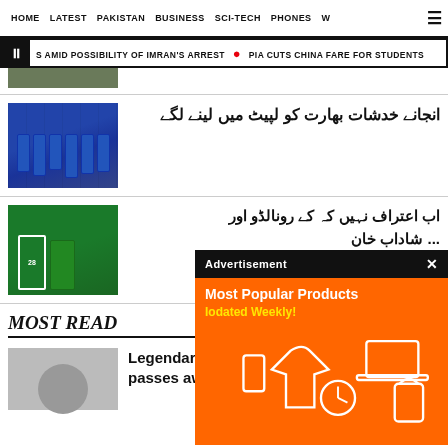HOME | LATEST | PAKISTAN | BUSINESS | SCI-TECH | PHONES | W
S AMID POSSIBILITY OF IMRAN'S ARREST | PIA CUTS CHINA FARE FOR STUDENTS
[Figure (photo): Partial cricket team photo at top]
انجانے خدشات بھارت کو لپیٹ میں لینے لگے
[Figure (photo): India cricket team in blue uniforms grouped together on field]
اب اعتراف نہیں کہ کے رونالڈو اور ... شاداب خان
[Figure (photo): Pakistan cricket player in green jersey number 28]
[Figure (infographic): Advertisement overlay: Most Popular Products Updated Weekly! on orange background]
MOST READ
[Figure (photo): Grey placeholder thumbnail for Nayyara Noor article]
Legendary singer Nayyara Noor passes away